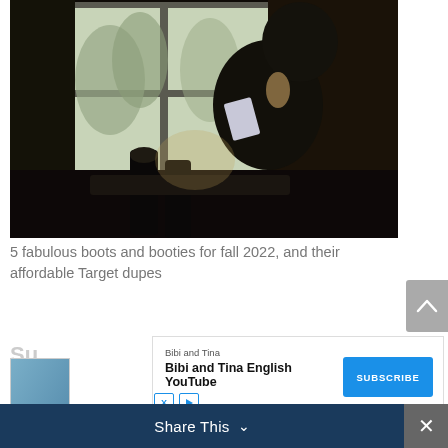[Figure (photo): A woman with curly hair sitting by a window reading a book, wearing tall black boots and a white top, dramatic lighting with dark interior and bright window]
5 fabulous boots and booties for fall 2022, and their affordable Target dupes
[Figure (infographic): Advertisement banner: Bibi and Tina brand logo with text 'Bibi and Tina English YouTube' and a blue SUBSCRIBE button, with social media icons]
[Figure (infographic): Share This bar at bottom with dark navy background and white text, with a close (x) button on the right]